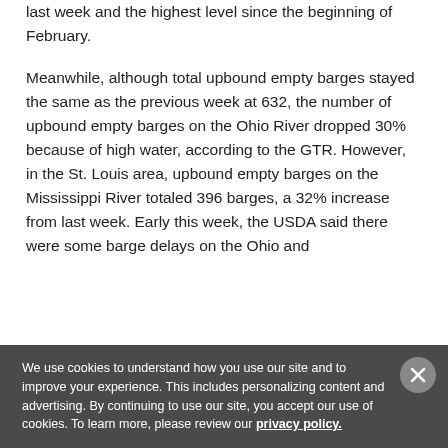last week and the highest level since the beginning of February.
Meanwhile, although total upbound empty barges stayed the same as the previous week at 632, the number of upbound empty barges on the Ohio River dropped 30% because of high water, according to the GTR. However, in the St. Louis area, upbound empty barges on the Mississippi River totaled 396 barges, a 32% increase from last week. Early this week, the USDA said there were some barge delays on the Ohio and
We use cookies to understand how you use our site and to improve your experience. This includes personalizing content and advertising. By continuing to use our site, you accept our use of cookies. To learn more, please review our privacy policy.